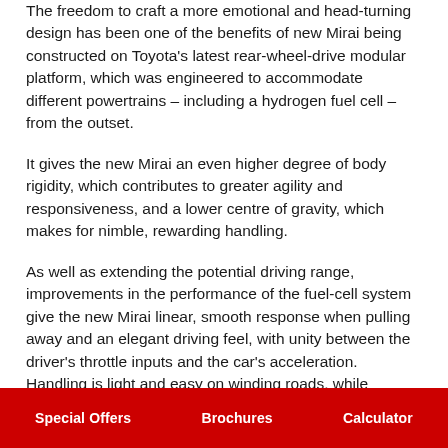The freedom to craft a more emotional and head-turning design has been one of the benefits of new Mirai being constructed on Toyota's latest rear-wheel-drive modular platform, which was engineered to accommodate different powertrains – including a hydrogen fuel cell – from the outset.
It gives the new Mirai an even higher degree of body rigidity, which contributes to greater agility and responsiveness, and a lower centre of gravity, which makes for nimble, rewarding handling.
As well as extending the potential driving range, improvements in the performance of the fuel-cell system give the new Mirai linear, smooth response when pulling away and an elegant driving feel, with unity between the driver's throttle inputs and the car's acceleration. Handling is light and easy on winding roads, while highway driving...
Special Offers   Brochures   Calculator